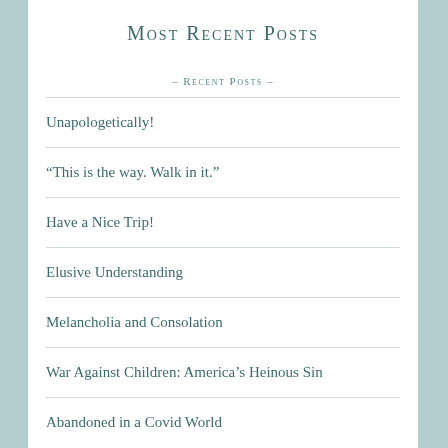Most Recent Posts
- Recent Posts -
Unapologetically!
“This is the way. Walk in it.”
Have a Nice Trip!
Elusive Understanding
Melancholia and Consolation
War Against Children: America’s Heinous Sin
Abandoned in a Covid World